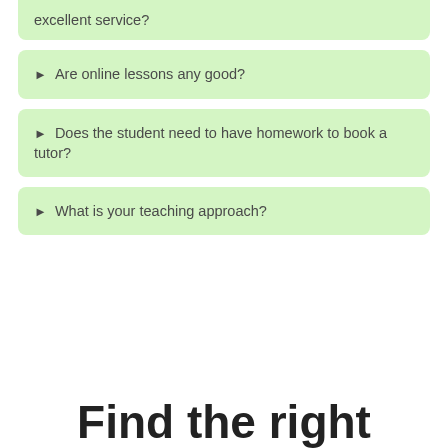excellent service?
Are online lessons any good?
Does the student need to have homework to book a tutor?
What is your teaching approach?
Find the right